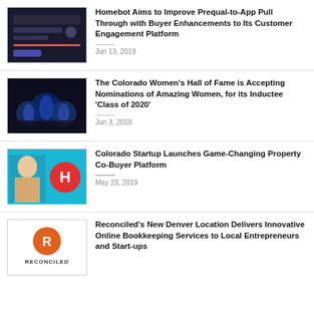[Figure (screenshot): Dark-themed mobile app screenshot showing Homebot UI]
Homebot Aims to Improve Prequal-to-App Pull Through with Buyer Enhancements to Its Customer Engagement Platform
Jun 13, 2019
[Figure (photo): Photo of trophies with blue lighting, awards ceremony]
The Colorado Women’s Hall of Fame is Accepting Nominations of Amazing Women, for its Inductee ‘Class of 2020’
Jun 3, 2019
[Figure (photo): Blue background with woman photo and red H logo for Homebot]
Colorado Startup Launches Game-Changing Property Co-Buyer Platform
May 23, 2019
[Figure (logo): Reconciled logo with orange R icon on white background]
Reconciled’s New Denver Location Delivers Innovative Online Bookkeeping Services to Local Entrepreneurs and Start-ups